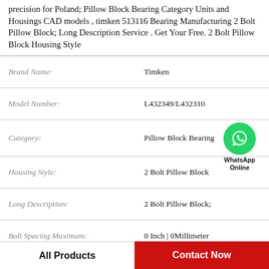precision for Poland; Pillow Block Bearing Category Units and Housings CAD models , timken 513116 Bearing Manufacturing 2 Bolt Pillow Block; Long Description Service . Get Your Free. 2 Bolt Pillow Block Housing Style
| Field | Value |
| --- | --- |
| Brand Name: | Timken |
| Model Number: | L432349/L432310 |
| Category: | Pillow Block Bearing |
| Housing Style: | 2 Bolt Pillow Block |
| Long Description: | 2 Bolt Pillow Block; |
| Bolt Spacing Maximum: | 0 Inch | 0Millimeter |
| Actual Bolt Center to Center: | 5.4 Inch | 136Millim |
[Figure (logo): WhatsApp Online green circle icon with phone handset, text WhatsApp Online below]
All Products
Contact Now